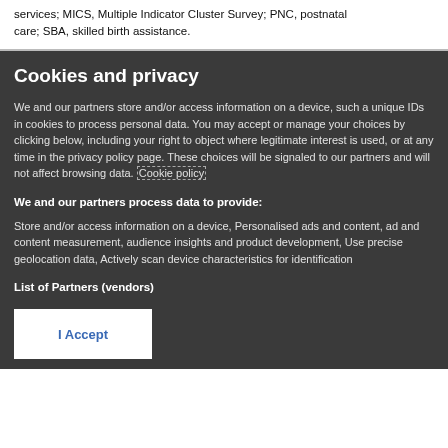services; MICS, Multiple Indicator Cluster Survey; PNC, postnatal care; SBA, skilled birth assistance.
Cookies and privacy
We and our partners store and/or access information on a device, such as unique IDs in cookies to process personal data. You may accept or manage your choices by clicking below, including your right to object where legitimate interest is used, or at any time in the privacy policy page. These choices will be signaled to our partners and will not affect browsing data. Cookie policy
We and our partners process data to provide:
Store and/or access information on a device, Personalised ads and content, ad and content measurement, audience insights and product development, Use precise geolocation data, Actively scan device characteristics for identification
List of Partners (vendors)
I Accept